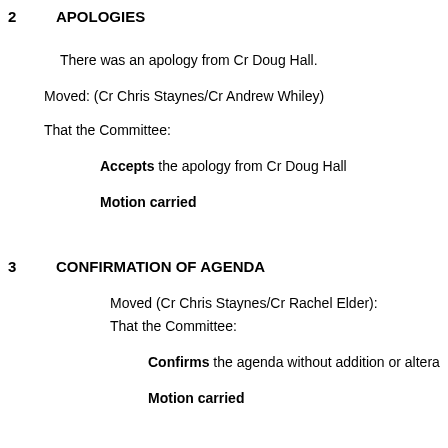2    APOLOGIES
There was an apology from Cr Doug Hall.
Moved: (Cr Chris Staynes/Cr Andrew Whiley)
That the Committee:
Accepts the apology from Cr Doug Hall
Motion carried
3    CONFIRMATION OF AGENDA
Moved (Cr Chris Staynes/Cr Rachel Elder):
That the Committee:
Confirms the agenda without addition or altera
Motion carried